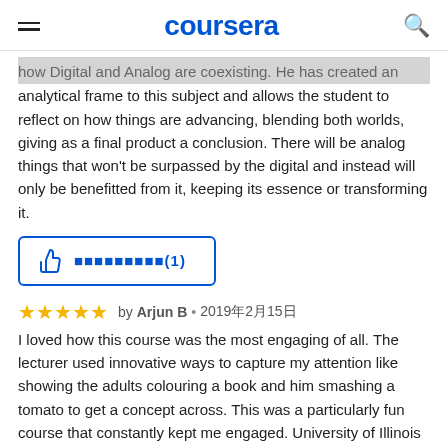coursera
how Digital and Analog are coexisting. He has created an analytical frame to this subject and allows the student to reflect on how things are advancing, blending both worlds, giving as a final product a conclusion. There will be analog things that won't be surpassed by the digital and instead will only be benefitted from it, keeping its essence or transforming it.
[Figure (other): Thumbs up helpful button with text and (1) count, blue outlined rounded rectangle button]
★★★★★ by Arjun B • 2019年2月15日
I loved how this course was the most engaging of all. The lecturer used innovative ways to capture my attention like showing the adults colouring a book and him smashing a tomato to get a concept across. This was a particularly fun course that constantly kept me engaged. University of Illinois should make more of its courses as captivating and engaging